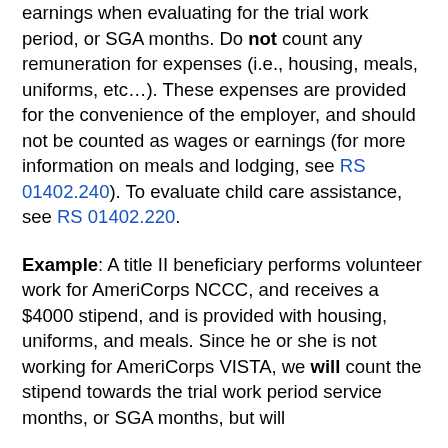earnings when evaluating for the trial work period, or SGA months. Do not count any remuneration for expenses (i.e., housing, meals, uniforms, etc…). These expenses are provided for the convenience of the employer, and should not be counted as wages or earnings (for more information on meals and lodging, see RS 01402.240). To evaluate child care assistance, see RS 01402.220.
Example: A title II beneficiary performs volunteer work for AmeriCorps NCCC, and receives a $4000 stipend, and is provided with housing, uniforms, and meals. Since he or she is not working for AmeriCorps VISTA, we will count the stipend towards the trial work period service months, or SGA months, but will